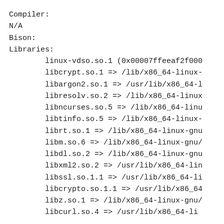Compiler:
N/A
Bison:
Libraries:
        linux-vdso.so.1 (0x00007ffeeaf2f000
        libcrypt.so.1 => /lib/x86_64-linux-
        libargon2.so.1 => /usr/lib/x86_64-l
        libresolv.so.2 => /lib/x86_64-linux
        libncurses.so.5 => /lib/x86_64-linu
        libtinfo.so.5 => /lib/x86_64-linux-
        librt.so.1 => /lib/x86_64-linux-gnu
        libm.so.6 => /lib/x86_64-linux-gnu/
        libdl.so.2 => /lib/x86_64-linux-gnu
        libxml2.so.2 => /usr/lib/x86_64-lin
        libssl.so.1.1 => /usr/lib/x86_64-li
        libcrypto.so.1.1 => /usr/lib/x86_64
        libz.so.1 => /lib/x86_64-linux-gnu/
        libcurl.so.4 => /usr/lib/x86_64-li